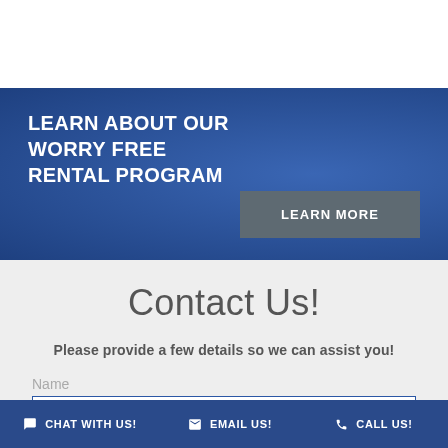LEARN ABOUT OUR WORRY FREE RENTAL PROGRAM
LEARN MORE
Contact Us!
Please provide a few details so we can assist you!
Name
CHAT WITH US!  EMAIL US!  CALL US!